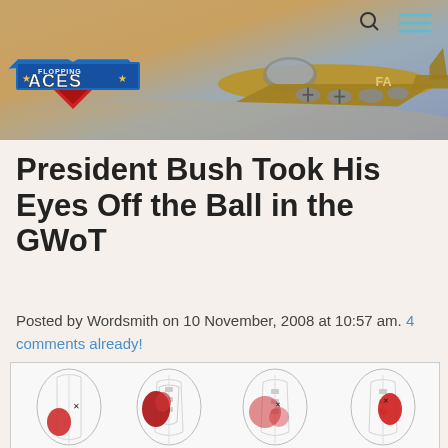[Figure (screenshot): Flopping Aces website banner header with a WWII B-17 Flying Fortress bomber aircraft on a warm golden-sky background. The Flopping Aces logo (red/white/blue wing insignia design) is in the upper left. Search and hamburger menu icons appear in the upper right.]
President Bush Took His Eyes Off the Ball in the GWoT
Posted by Wordsmith on 10 November, 2008 at 10:57 am. 4 comments already!
[Figure (illustration): Medical/anatomical illustration showing four views of human torso cross-sections with highlighted (red) areas indicating injury or damage regions, shown against white background with a light border.]